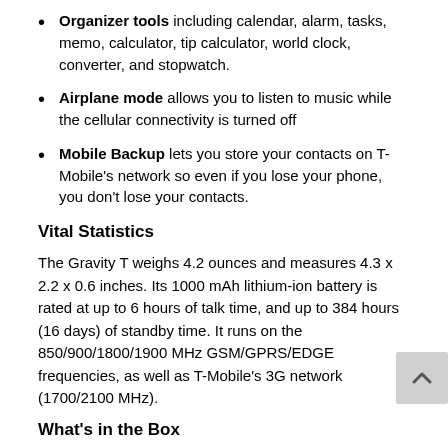Organizer tools including calendar, alarm, tasks, memo, calculator, tip calculator, world clock, converter, and stopwatch.
Airplane mode allows you to listen to music while the cellular connectivity is turned off
Mobile Backup lets you store your contacts on T-Mobile's network so even if you lose your phone, you don't lose your contacts.
Vital Statistics
The Gravity T weighs 4.2 ounces and measures 4.3 x 2.2 x 0.6 inches. Its 1000 mAh lithium-ion battery is rated at up to 6 hours of talk time, and up to 384 hours (16 days) of standby time. It runs on the 850/900/1800/1900 MHz GSM/GPRS/EDGE frequencies, as well as T-Mobile's 3G network (1700/2100 MHz).
What's in the Box